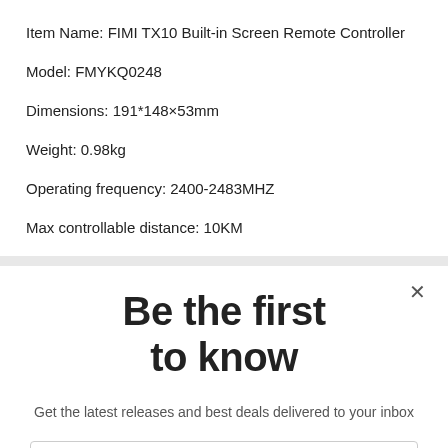Item Name: FIMI TX10 Built-in Screen Remote Controller
Model: FMYKQ0248
Dimensions: 191*148×53mm
Weight: 0.98kg
Operating frequency: 2400-2483MHZ
Max controllable distance: 10KM
Be the first to know
Get the latest releases and best deals delivered to your inbox